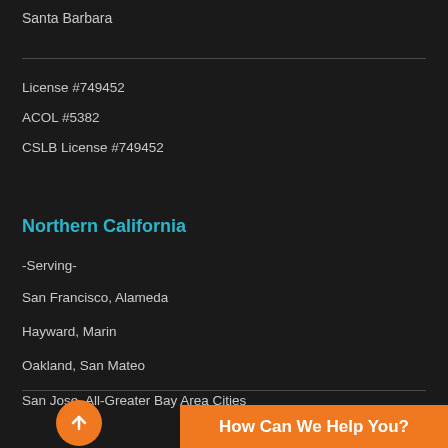Santa Barbara
License #749452
ACOL #5382
CSLB License #749452
Northern California
-Serving-
San Francisco, Alameda
Hayward, Marin
Oakland, San Mateo
San Jose, All-Greater Bay Area Cities
Texas Headquarters
How Can We Help You?